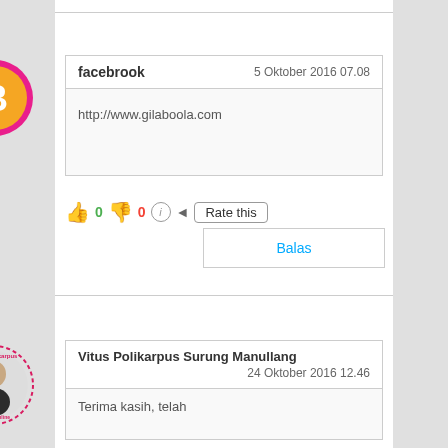[Figure (logo): Blogger orange circle logo with white B icon, pink border]
facebrook   5 Oktober 2016 07.08
http://www.gilaboola.com
👍 0 👎 0 ℹ Rate this
Balas
[Figure (photo): Circular profile photo of Vitus Polikarpus with dashed pink border and text around the circle]
Vitus Polikarpus Surung Manullang
24 Oktober 2016 12.46
Terima kasih, telah